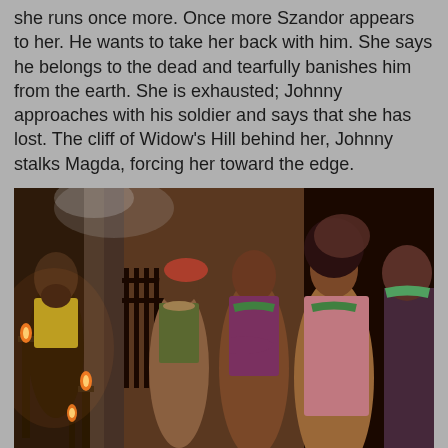she runs once more. Once more Szandor appears to her. He wants to take her back with him. She says he belongs to the dead and tearfully banishes him from the earth. She is exhausted; Johnny approaches with his soldier and says that she has lost. The cliff of Widow's Hill behind her, Johnny stalks Magda, forcing her toward the edge.
[Figure (photo): A dark scene with multiple people standing. On the left a man in colorful clothing stands near candelabras with lit flames. To the right stand several figures in period costumes including pink/rose colored garments. The setting appears to be a dimly lit indoor scene with brick or stone walls.]